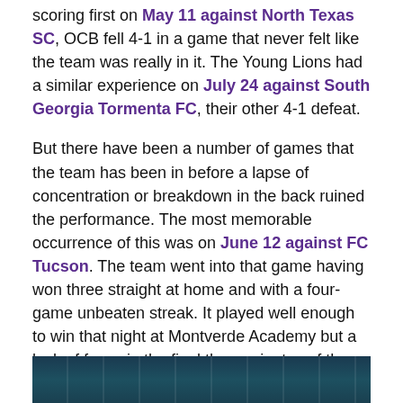scoring first on May 11 against North Texas SC, OCB fell 4-1 in a game that never felt like the team was really in it. The Young Lions had a similar experience on July 24 against South Georgia Tormenta FC, their other 4-1 defeat.
But there have been a number of games that the team has been in before a lapse of concentration or breakdown in the back ruined the performance. The most memorable occurrence of this was on June 12 against FC Tucson. The team went into that game having won three straight at home and with a four-game unbeaten streak. It played well enough to win that night at Montverde Academy but a lack of focus in the final three minutes of the first half doomed the Young Lions.
[Figure (photo): Partial view of a sports/game image with dark teal and navy background, partially cut off at bottom of page]